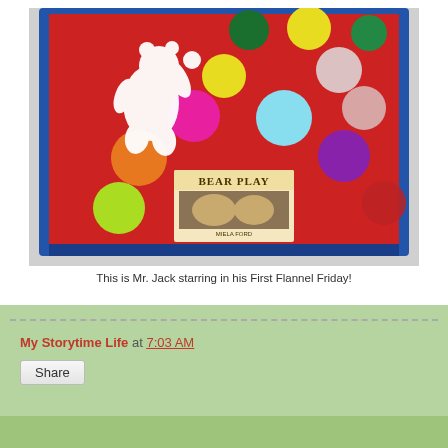[Figure (photo): A red flannel board display featuring colorful felt circles (green, yellow, pink, light blue, orange, purple, red, dark green, white/gray) and a white silhouette of a bear reaching upward. A book titled 'Bear Play' by Miela Ford is propped at the bottom center of the board. The board has a dark blue border.]
This is Mr. Jack starring in his First Flannel Friday!
My Storytime Life at 7:03 AM
Share